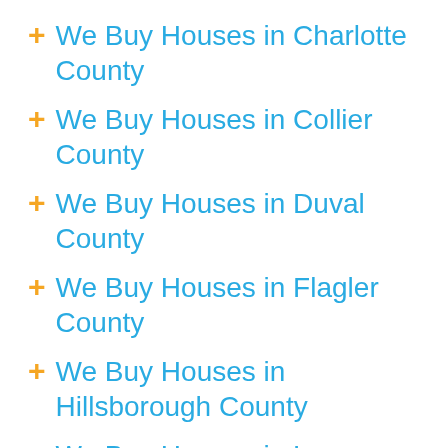We Buy Houses in Charlotte County
We Buy Houses in Collier County
We Buy Houses in Duval County
We Buy Houses in Flagler County
We Buy Houses in Hillsborough County
We Buy Houses in Lee County
We Buy Houses in Manatee County
We Buy Houses in Martin County